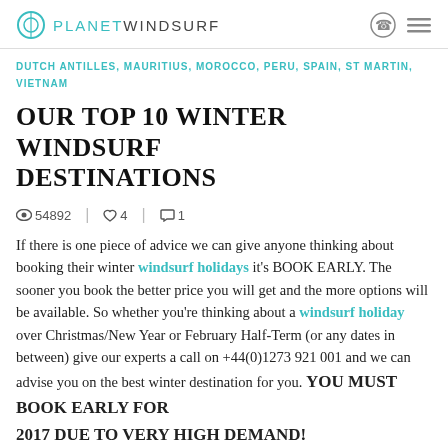PLANET WINDSURF
DUTCH ANTILLES, MAURITIUS, MOROCCO, PERU, SPAIN, ST MARTIN, VIETNAM
OUR TOP 10 WINTER WINDSURF DESTINATIONS
54892  4  1
If there is one piece of advice we can give anyone thinking about booking their winter windsurf holidays it's BOOK EARLY. The sooner you book the better price you will get and the more options will be available. So whether you're thinking about a windsurf holiday over Christmas/New Year or February Half-Term (or any dates in between) give our experts a call on +44(0)1273 921 001 and we can advise you on the best winter destination for you. YOU MUST BOOK EARLY FOR 2017 DUE TO VERY HIGH DEMAND!